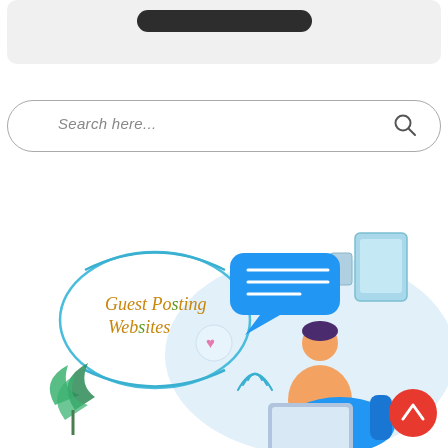[Figure (screenshot): Gray rounded box at top with a dark pill/bar shape inside it, representing a UI card or button element]
[Figure (screenshot): Search input field with rounded border, placeholder text 'Search here...' and a search/magnifier icon on the right]
[Figure (illustration): Illustration of 'Guest Posting Websites' logo on left (text in oval with blue curved lines, gold/orange colored text) and a digital communication illustration on the right showing a person on laptop with chat bubbles, a tablet/phone device, and a red scroll-to-top button]